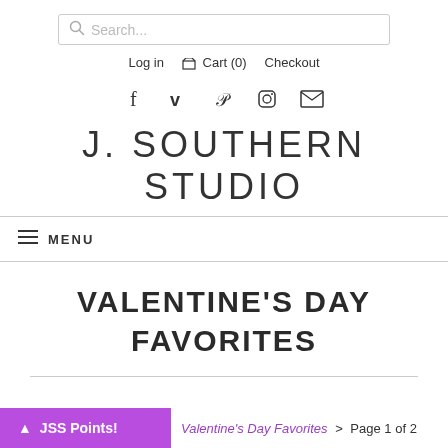[Figure (screenshot): Search bar with magnifying glass icon and placeholder text 'Search...']
Log in  Cart (0)  Checkout
[Figure (infographic): Social media icons: Facebook, Vimeo, Pinterest, Instagram, Email]
J. SOUTHERN STUDIO
≡ MENU
VALENTINE'S DAY FAVORITES
▲ JSS Points!  Valentine's Day Favorites > Page 1 of 2